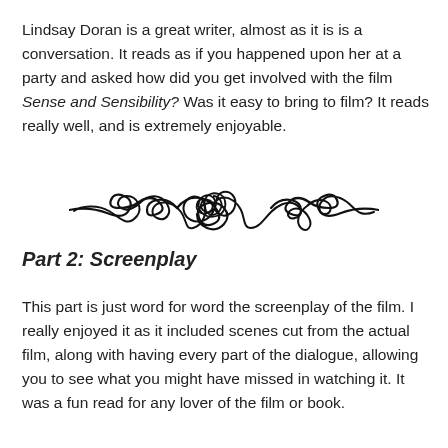Lindsay Doran is a great writer, almost as it is is a conversation. It reads as if you happened upon her at a party and asked how did you get involved with the film Sense and Sensibility? Was it easy to bring to film? It reads really well, and is extremely enjoyable.
[Figure (illustration): Decorative ornamental divider with curling swirl motifs, black on white background]
Part 2: Screenplay
This part is just word for word the screenplay of the film. I really enjoyed it as it included scenes cut from the actual film, along with having every part of the dialogue, allowing you to see what you might have missed in watching it. It was a fun read for any lover of the film or book.